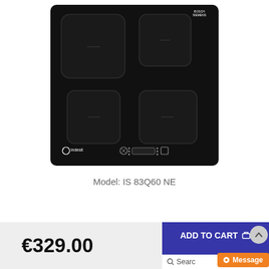[Figure (photo): Indesit induction hob IS 83Q60 NE, black glass surface with 4 cooking zones, touch controls at the bottom center, Indesit logo at bottom left, brand mark at top right]
Model: IS 83Q60 NE
€329.00
ADD TO CART
Search
Message